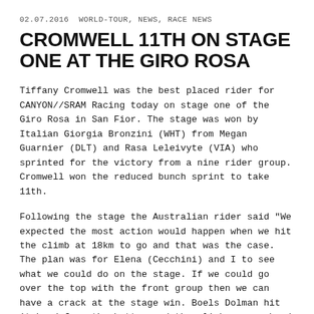02.07.2016  WORLD-TOUR, NEWS, RACE NEWS
CROMWELL 11TH ON STAGE ONE AT THE GIRO ROSA
Tiffany Cromwell was the best placed rider for CANYON//SRAM Racing today on stage one of the Giro Rosa in San Fior. The stage was won by Italian Giorgia Bronzini (WHT) from Megan Guarnier (DLT) and Rasa Leleivyte (VIA) who sprinted for the victory from a nine rider group. Cromwell won the reduced bunch sprint to take 11th.
Following the stage the Australian rider said "We expected the most action would happen when we hit the climb at 18km to go and that was the case. The plan was for Elena (Cecchini) and I to see what we could do on the stage. If we could go over the top with the front group then we can have a crack at the stage win. Boels Dolman hit it hard from the bottom and the climb was so hard and steep. Groups formed pretty